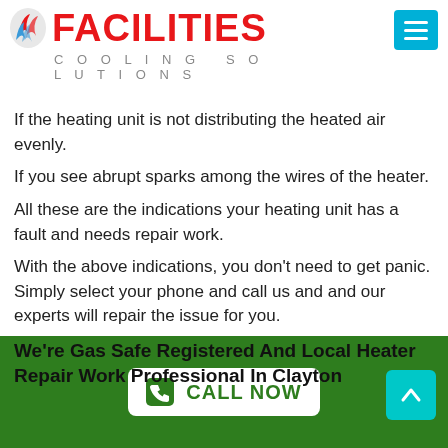[Figure (logo): Facilities Cooling Solutions logo with red text and blue/red swirl icon]
something burning inside.
If you see that your heating unit is not working effectively, address the immediately.
If the heating unit is not distributing the heated air evenly.
If you see abrupt sparks among the wires of the heater.
All these are the indications your heating unit has a fault and needs repair work.
With the above indications, you don't need to get panic. Simply select your phone and call us and and our experts will repair the issue for you.
We're Gas Safe Registered And Local Heater Repair Work Professional In Clayton
[Figure (other): Green footer bar with CALL NOW button and upward arrow button]